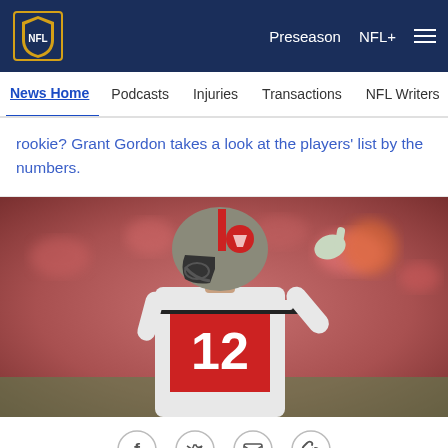NFL | Preseason  NFL+  Menu
News Home  Podcasts  Injuries  Transactions  NFL Writers  Se
rookie? Grant Gordon takes a look at the players' list by the numbers.
[Figure (photo): NFL Buccaneers player wearing jersey number 12, in white uniform with red accents, pointing finger upward on field with crowd in background]
[Figure (infographic): Social sharing icons: Facebook, Twitter, Email, Link]